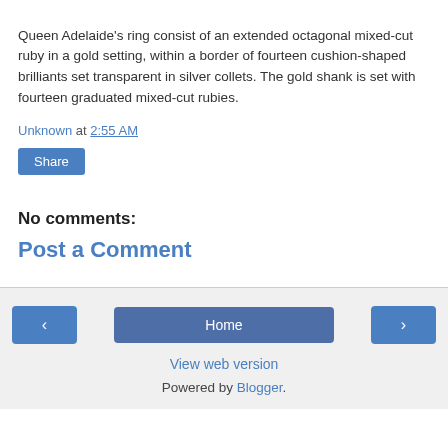Queen Adelaide's ring consist of an extended octagonal mixed-cut ruby in a gold setting, within a border of fourteen cushion-shaped brilliants set transparent in silver collets. The gold shank is set with fourteen graduated mixed-cut rubies.
Unknown at 2:55 AM
Share
No comments:
Post a Comment
Home | View web version | Powered by Blogger.